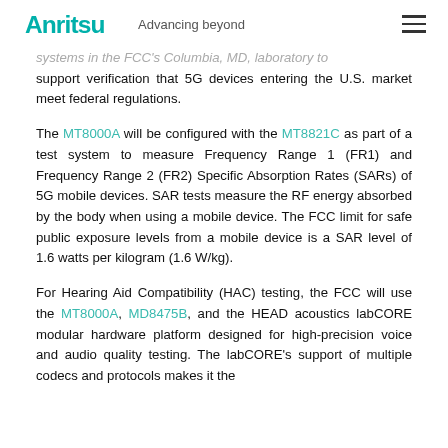Anritsu — Advancing beyond
systems in the FCC's Columbia, MD, laboratory to support verification that 5G devices entering the U.S. market meet federal regulations.
The MT8000A will be configured with the MT8821C as part of a test system to measure Frequency Range 1 (FR1) and Frequency Range 2 (FR2) Specific Absorption Rates (SARs) of 5G mobile devices. SAR tests measure the RF energy absorbed by the body when using a mobile device. The FCC limit for safe public exposure levels from a mobile device is a SAR level of 1.6 watts per kilogram (1.6 W/kg).
For Hearing Aid Compatibility (HAC) testing, the FCC will use the MT8000A, MD8475B, and the HEAD acoustics labCORE modular hardware platform designed for high-precision voice and audio quality testing. The labCORE's support of multiple codecs and protocols makes it the